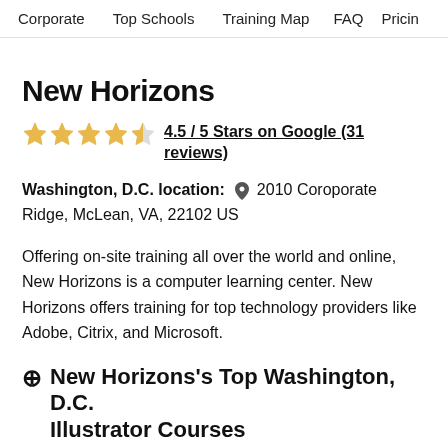Corporate   Top Schools   Training Map   FAQ   Pricing
New Horizons
4.5 / 5 Stars on Google (31 reviews)
Washington, D.C. location: 📍 2010 Coroporate Ridge, McLean, VA, 22102 US
Offering on-site training all over the world and online, New Horizons is a computer learning center. New Horizons offers training for top technology providers like Adobe, Citrix, and Microsoft.
⊕ New Horizons's Top Washington, D.C. Illustrator Courses